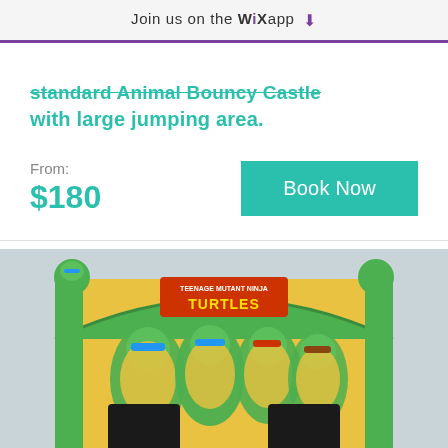Join us on the WiX app ⬇
standard Animal Bouncy Castle with large jumping area.
From:
$180
Book Now
[Figure (photo): Teenage Mutant Ninja Turtles themed inflatable bouncy castle, yellow and green, with TMNT characters printed on the front, two dark entry openings at the bottom, photographed outdoors.]